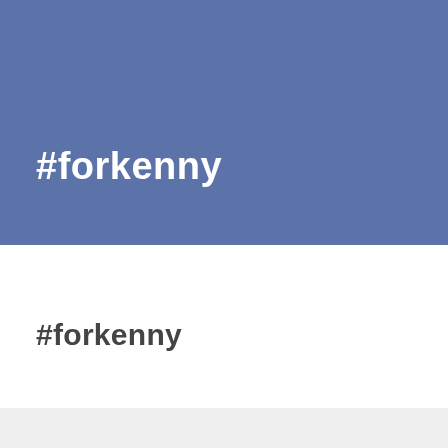[Figure (screenshot): Facebook-style social media post screenshot. Top half is a blue banner with white bold text '#forkenny'. Bottom half is white background with dark gray bold text '#forkenny'. A gray bar appears at the very bottom.]
#forkenny
#forkenny